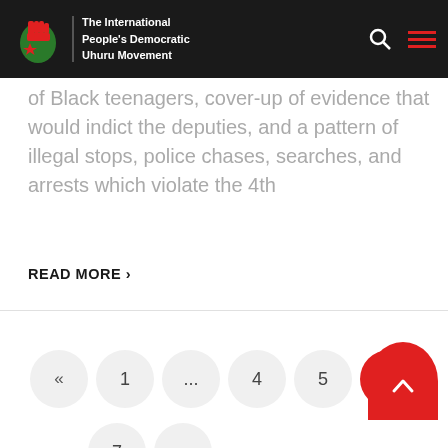The International People's Democratic Uhuru Movement
of Black teenagers, cover-up of evidence that would indict the deputies, and a pattern of illegal stops, police chases, searches, and arrests which violate the 4th
READ MORE ›
« 1 … 4 5 6 7 »